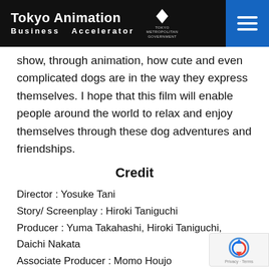Tokyo Animation Business Accelerator | Tokyo Metropolitan Government
show, through animation, how cute and even complicated dogs are in the way they express themselves. I hope that this film will enable people around the world to relax and enjoy themselves through these dog adventures and friendships.
Credit
Director : Yosuke Tani
Story/ Screenplay : Hiroki Taniguchi
Producer : Yuma Takahashi, Hiroki Taniguchi, Daichi Nakata
Associate Producer : Momo Houjo
PR：Hideo, Lyla Hayakaze, Shun Okuda, Masuda